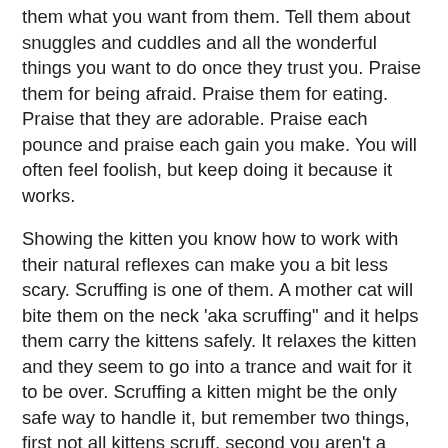them what you want from them. Tell them about snuggles and cuddles and all the wonderful things you want to do once they trust you. Praise them for being afraid. Praise them for eating. Praise that they are adorable. Praise each pounce and praise each gain you make. You will often feel foolish, but keep doing it because it works.
Showing the kitten you know how to work with their natural reflexes can make you a bit less scary. Scruffing is one of them. A mother cat will bite them on the neck 'aka scruffing" and it helps them carry the kittens safely. It relaxes the kitten and they seem to go into a trance and wait for it to be over. Scruffing a kitten might be the only safe way to handle it, but remember two things, first not all kittens scruff, second you aren't a mother cat, so it should not be the only hand on the kitten. If you have to scruff the kitten to pick it up, as soon as you can, use the second hand to support the body. A lot of people feel scruffing is inhumane and if you carry the kitten around only by the scruff it is. Also, forcing a kitten to be picked up this way can break the trust you are trying to build. Again, if you need to pick them up and you don't have the time to go slowly, do this, but I don't recommend using it as